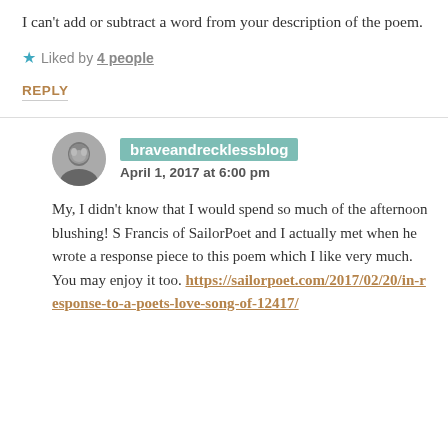I can't add or subtract a word from your description of the poem.
★ Liked by 4 people
REPLY
braveandrecklessblog
April 1, 2017 at 6:00 pm
My, I didn't know that I would spend so much of the afternoon blushing! S Francis of SailorPoet and I actually met when he wrote a response piece to this poem which I like very much. You may enjoy it too. https://sailorpoet.com/2017/02/20/in-response-to-a-poets-love-song-of-12417/